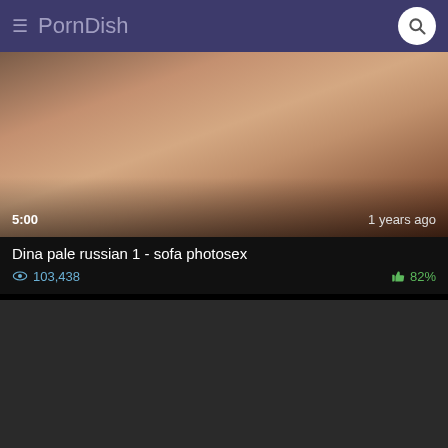PornDish
[Figure (photo): Video thumbnail showing a person on a brown sofa, with duration 5:00 and timestamp 1 years ago]
Dina pale russian 1 - sofa photosex
103,438 views · 82% rating
[Figure (photo): Dark/loading video thumbnail placeholder]